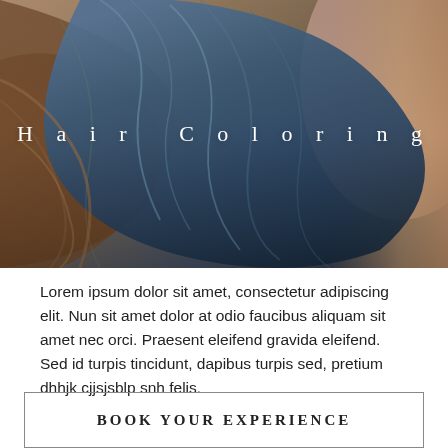[Figure (photo): Close-up photo of hair with blue/dark coloring streaks against warm brown tones, skin visible at right. 'Hair Coloring' text overlaid in white spaced letters.]
Hair Coloring
Lorem ipsum dolor sit amet, consectetur adipiscing elit. Nun sit amet dolor at odio faucibus aliquam sit amet nec orci. Praesent eleifend gravida eleifend. Sed id turpis tincidunt, dapibus turpis sed, pretium dhhjk cjjsjsblp snh felis.
BOOK YOUR EXPERIENCE